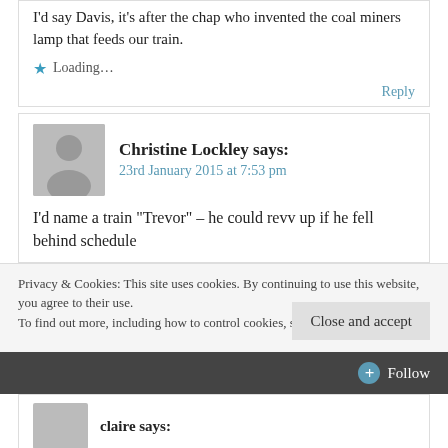I'd say Davis, it's after the chap who invented the coal miners lamp that feeds our train.
Loading...
Reply
[Figure (illustration): Grey avatar silhouette placeholder image]
Christine Lockley says:
23rd January 2015 at 7:53 pm
I'd name a train "Trevor" – he could revv up if he fell behind schedule
Privacy & Cookies: This site uses cookies. By continuing to use this website, you agree to their use.
To find out more, including how to control cookies, see here: Cookie Policy
Close and accept
+ Follow